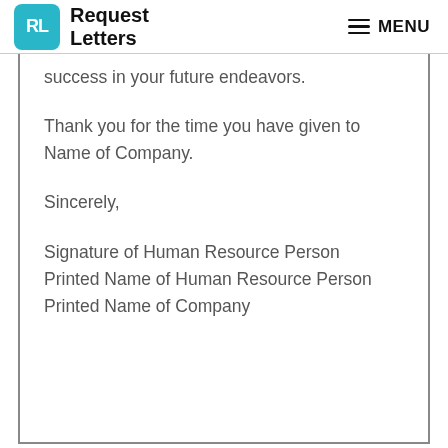Request Letters | MENU
success in your future endeavors.
Thank you for the time you have given to Name of Company.
Sincerely,
Signature of Human Resource Person
Printed Name of Human Resource Person
Printed Name of Company